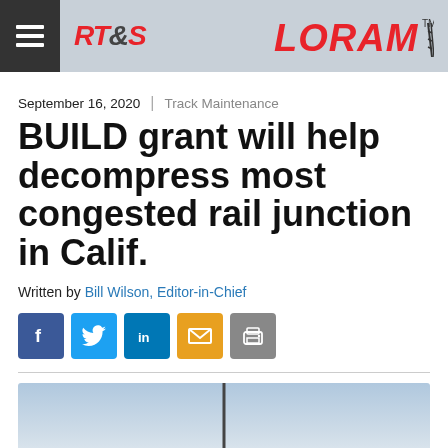RT&S | LORAM
September 16, 2020 | Track Maintenance
BUILD grant will help decompress most congested rail junction in Calif.
Written by Bill Wilson, Editor-in-Chief
[Figure (infographic): Social sharing buttons: Facebook, Twitter, LinkedIn, Email, Print]
[Figure (photo): Sky and rail infrastructure photo, partially visible at bottom of page]